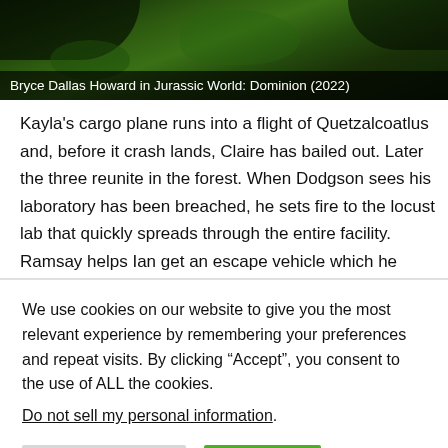[Figure (photo): Dark green jungle/forest scene with dense foliage, semi-aerial or ground-level view with dark shadowed areas]
Bryce Dallas Howard in Jurassic World: Dominion (2022)
Kayla's cargo plane runs into a flight of Quetzalcoatlus and, before it crash lands, Claire has bailed out. Later the three reunite in the forest. When Dodgson sees his laboratory has been breached, he sets fire to the locust lab that quickly spreads through the entire facility. Ramsay helps Ian get an escape vehicle which he uses to rescue Claire, Owen, and Kayla from caves below the Biosyn facility and they eventually meet up with Ellie, Alan, Maisie, Ramsay and Wu. But before the group can reach
We use cookies on our website to give you the most relevant experience by remembering your preferences and repeat visits. By clicking “Accept”, you consent to the use of ALL the cookies.
Do not sell my personal information.
Cookie Settings
Accept